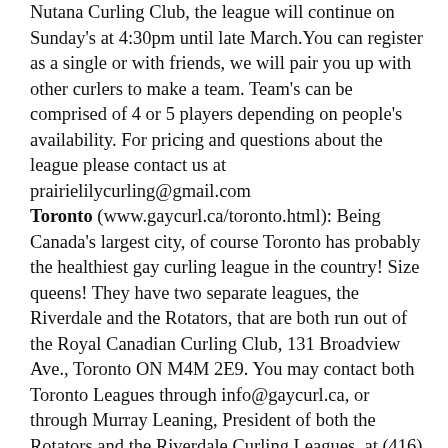Nutana Curling Club, the league will continue on Sunday's at 4:30pm until late March. You can register as a single or with friends, we will pair you up with other curlers to make a team. Team's can be comprised of 4 or 5 players depending on people's availability. For pricing and questions about the league please contact us at prairielilycurling@gmail.com
Toronto (www.gaycurl.ca/toronto.html): Being Canada's largest city, of course Toronto has probably the healthiest gay curling league in the country! Size queens! They have two separate leagues, the Riverdale and the Rotators, that are both run out of the Royal Canadian Curling Club, 131 Broadview Ave., Toronto ON M4M 2E9. You may contact both Toronto Leagues through info@gaycurl.ca, or through Murray Leaning, President of both the Rotators and the Riverdale Curling Leagues, at (416) 722-0111.